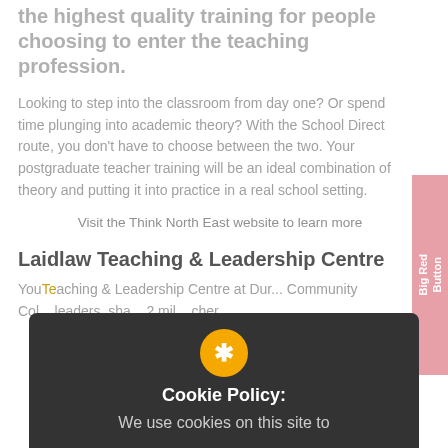the highest quality training for people choosing to enter the teaching profession.
Looking to step into the classroom from day one? Or spend time plunging into academic theory? With the School Direct route, you don't have to choose between the two. Your postgraduate teacher training will be an ideal combination of theory and putting it into practice in a real school setting.
Visit the Think North East website to learn more
Laidlaw Teaching & Leadership Centre
You... Teaching... Community College... leaders, sha... 2 mil... cher...
[Figure (other): Cookie Policy overlay with orange asterisk icon, dark background, title 'Cookie Policy:' and text 'We use cookies on this site to']